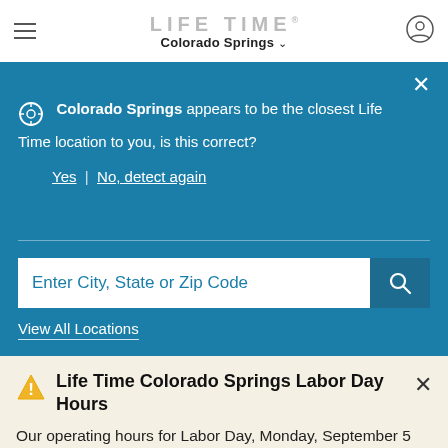LIFE TIME® Colorado Springs
Colorado Springs appears to be the closest Life Time location to you, is this correct? Yes | No, detect again
Enter City, State or Zip Code
View All Locations
Life Time Colorado Springs Labor Day Hours
Our operating hours for Labor Day, Monday, September 5 are as follows: Club hours 4am-12am // Child Center 8am-8pm // Rockwall 4pm-8pm // Family Swi... View M...